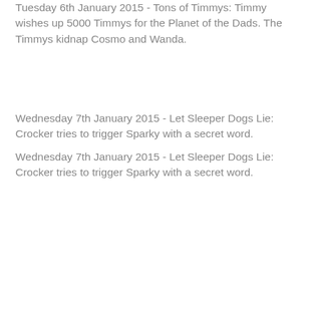Tuesday 6th January 2015 - Tons of Timmys: Timmy wishes up 5000 Timmys for the Planet of the Dads. The Timmys kidnap Cosmo and Wanda.
Wednesday 7th January 2015 - Let Sleeper Dogs Lie: Crocker tries to trigger Sparky with a secret word.
Thursday 8th January 2015 - Cat-Astrophe: Catman confuses Sparky for his old arch-nemesis Dogman.
Friday 9th January 2015 - Lame Ducks: Dad organizes a neighbourhood watch programme to catch a neighbourhood thief.
Monday 12th January 2015 - Perfect Nightmare: Timmy wishes he had the perfect family in order to win a contest. Everyone goes crazy trying to be perfect.
Tuesday 13th January 2015 - Love at First Bark: Dad forbids Sparky from dating Dinkleberg's new dog. Timmy wishes Dad would like the dog as much as Sparky.
Wednesday 14th January 2015 - Parents Without...